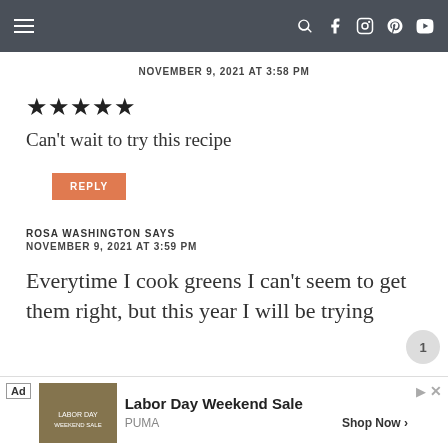Navigation bar with hamburger menu and social icons (search, facebook, instagram, pinterest, youtube)
NOVEMBER 9, 2021 AT 3:58 PM
[Figure (other): Five filled black stars rating]
Can't wait to try this recipe
REPLY
ROSA WASHINGTON SAYS
NOVEMBER 9, 2021 AT 3:59 PM
Everytime I cook greens I can't seem to get them right, but this year I will be trying
[Figure (other): Ad banner: Labor Day Weekend Sale by PUMA with Shop Now button]